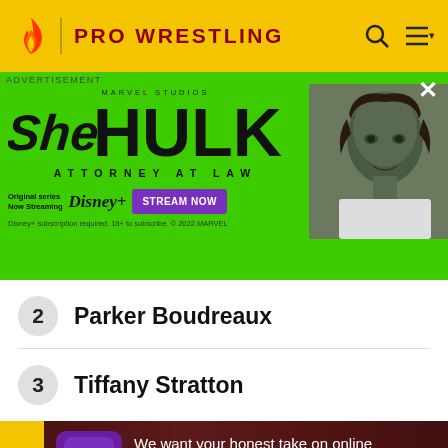PRO WRESTLING
[Figure (screenshot): She-Hulk Attorney at Law advertisement banner on green background with actress image. Marvel Studios. Original series Now Streaming on Disney+. Stream Now button. Disney+ subscription required. 18+ to subscribe. © 2022 MARVEL]
2 Parker Boudreaux
3 Tiffany Stratton
We want your honest take on online discussions
SURVEY: ONLINE FORUMS